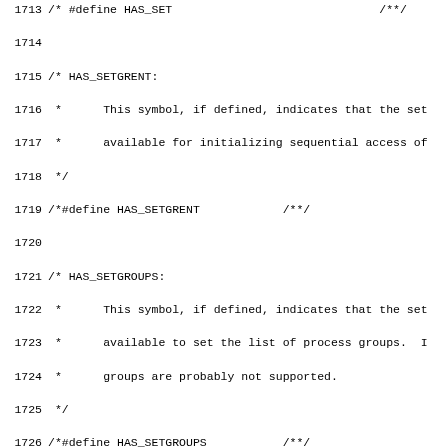Source code listing lines 1713-1745 with C preprocessor comments and #define macros for HAS_SETGRENT, HAS_SETGROUPS, HAS_SETHOSTENT, HAS_SETNETENT, HAS_SETPROTOENT